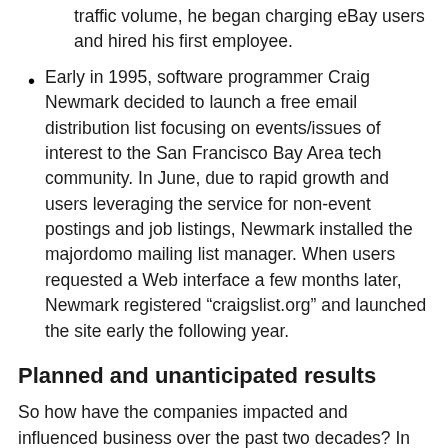traffic volume, he began charging eBay users and hired his first employee.
Early in 1995, software programmer Craig Newmark decided to launch a free email distribution list focusing on events/issues of interest to the San Francisco Bay Area tech community. In June, due to rapid growth and users leveraging the service for non-event postings and job listings, Newmark installed the majordomo mailing list manager. When users requested a Web interface a few months later, Newmark registered “craigslist.org” and launched the site early the following year.
Planned and unanticipated results
So how have the companies impacted and influenced business over the past two decades? In ways that were both planned and unplanned.